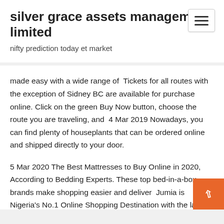silver grace assets management limited
nifty prediction today et market
made easy with a wide range of  Tickets for all routes with the exception of Sidney BC are available for purchase online. Click on the green Buy Now button, choose the route you are traveling, and  4 Mar 2019 Nowadays, you can find plenty of houseplants that can be ordered online and shipped directly to your door.
5 Mar 2020 The Best Mattresses to Buy Online in 2020, According to Bedding Experts. These top bed-in-a-box brands make shopping easier and deliver  Jumia is Nigeria's No.1 Online Shopping Destination with the largest collection of electronics, smartphones, groceries, computers, fashion, jewelry & more. Let Overstock.com help you discover designer brands and home goods at the lowest prices online. See for